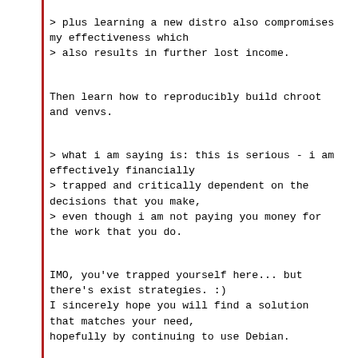> plus learning a new distro also compromises my effectiveness which
> also results in further lost income.
Then learn how to reproducibly build chroot and venvs.
> what i am saying is: this is serious - i am effectively financially
> trapped and critically dependent on the decisions that you make,
> even though i am not paying you money for the work that you do.
IMO, you've trapped yourself here... but there's exist strategies. :)
I sincerely hope you will find a solution that matches your need,
hopefully by continuing to use Debian.
Cheers,
Thomas Goirand (zigo)